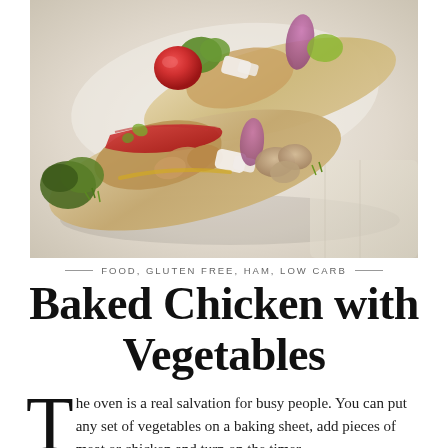[Figure (photo): Two baked chicken and vegetable wraps/pitas filled with tomatoes, red peppers, feta cheese, red onion, mushrooms, and herbs, served on a white rectangular plate with a linen cloth, photographed from above at an angle on a light background.]
— FOOD, GLUTEN FREE, HAM, LOW CARB —
Baked Chicken with Vegetables
The oven is a real salvation for busy people. You can put any set of vegetables on a baking sheet, add pieces of meat or chicken and turn on the timer.